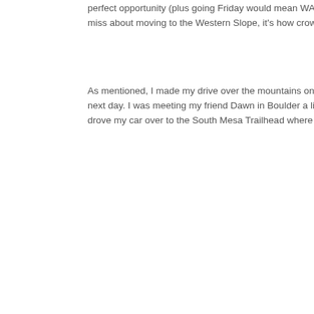perfect opportunity (plus going Friday would mean WAY less crowds… miss about moving to the Western Slope, it's how crowded the trails…
As mentioned, I made my drive over the mountains on Thursday nig… next day. I was meeting my friend Dawn in Boulder a little before 6a… drove my car over to the South Mesa Trailhead where we would beg…
[Figure (photo): A sunset/dusk landscape photo showing a silhouetted pine tree on the left against a blue-purple sky with clouds and a vivid red/orange horizon glow over distant mountains.]
Pretty sunset on th…